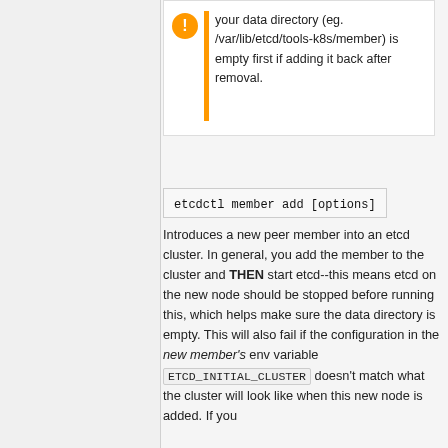your data directory (eg. /var/lib/etcd/tools-k8s/member) is empty first if adding it back after removal.
etcdctl member add [options]
Introduces a new peer member into an etcd cluster. In general, you add the member to the cluster and THEN start etcd--this means etcd on the new node should be stopped before running this, which helps make sure the data directory is empty. This will also fail if the configuration in the new member's env variable ETCD_INITIAL_CLUSTER doesn't match what the cluster will look like when this new node is added. If you